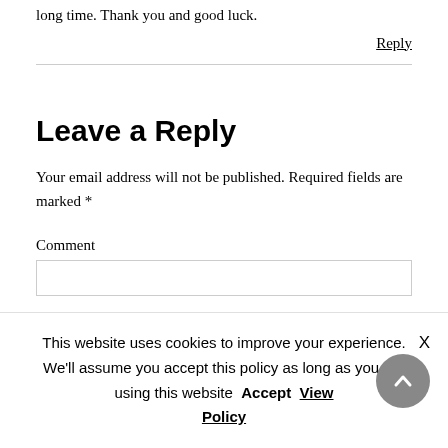long time. Thank you and good luck.
Reply
Leave a Reply
Your email address will not be published. Required fields are marked *
Comment
This website uses cookies to improve your experience. We'll assume you accept this policy as long as you are using this website  Accept  View Policy